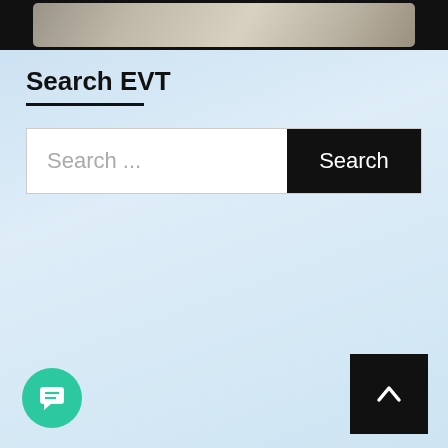[Figure (photo): Partial view of a photo at the top of the page, dark bordered frame with a light beige/tan image inside]
Search EVT
[Figure (screenshot): Search bar UI element with placeholder text 'Search ...' and a black 'Search' button on the right]
[Figure (other): Teal/green circular chat icon in the bottom left corner with a speech bubble icon]
[Figure (other): Black square scroll-to-top button with a white upward chevron arrow in the bottom right corner]